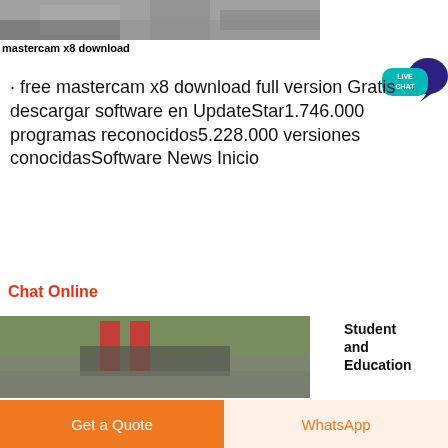[Figure (photo): Top partial image of machinery/concrete work, gray tones]
mastercam x8 download
· free mastercam x8 download full version Gratis descargar software en UpdateStar1.746.000 programas reconocidos5.228.000 versiones conocidasSoftware News Inicio
Chat Online
[Figure (photo): Bottom partial image showing vehicle/equipment on road with trees in background]
Student and Education